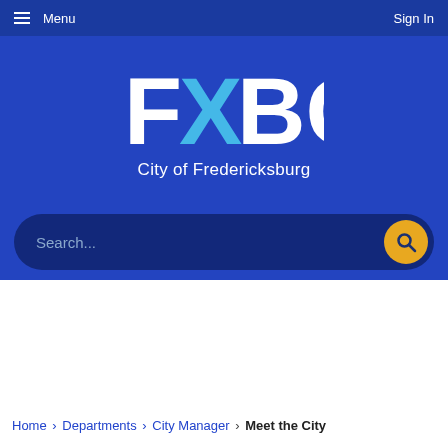Menu   Sign In
[Figure (logo): FXBG City of Fredericksburg logo — white bold letters FX with cyan X, followed by BG in white, on dark blue background. Below: 'City of Fredericksburg' in white.]
Search...
Home › Departments › City Manager › Meet the City